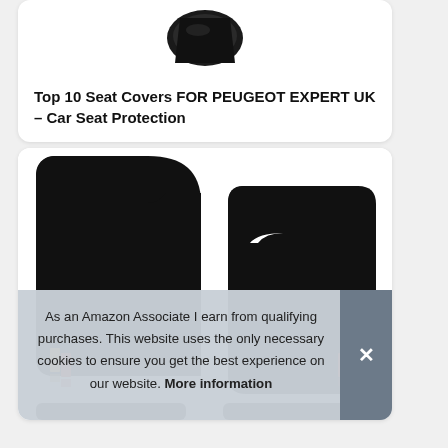[Figure (photo): Black car seat cover / mat product image shown at top of card, partially cropped]
Top 10 Seat Covers FOR PEUGEOT EXPERT UK – Car Seat Protection
[Figure (photo): Two black car floor mats with yellow/orange and red stripe accents at bottom corners, shown on white background]
As an Amazon Associate I earn from qualifying purchases. This website uses the only necessary cookies to ensure you get the best experience on our website. More information